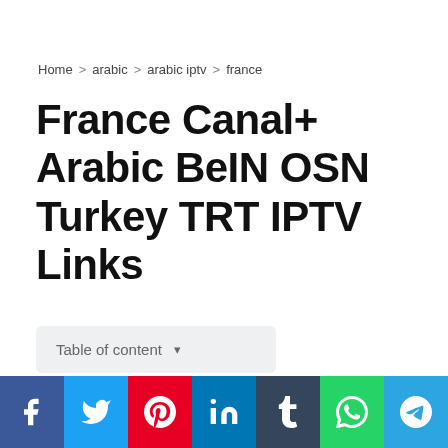Home > arabic > arabic iptv > france
France Canal+ Arabic BeIN OSN Turkey TRT IPTV Links
Table of content
[Figure (logo): Row of TV channel logos including MBC, MBC2, Action, MX, Drama, and others]
[Figure (infographic): Social media sharing bar with Facebook, Twitter, Pinterest, LinkedIn, Tumblr, WhatsApp, and Telegram icons]